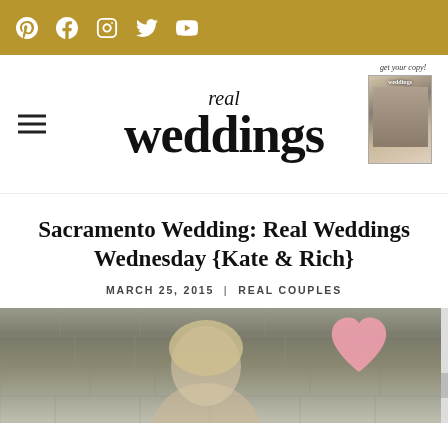Social media icons bar (Pinterest, Facebook, Instagram, Twitter, YouTube)
[Figure (logo): Real Weddings magazine logo with hamburger menu and magazine cover thumbnail]
Sacramento Wedding: Real Weddings Wednesday {Kate & Rich}
MARCH 25, 2015  |  REAL COUPLES
[Figure (photo): Wedding photo of couple outdoors against stone wall background with pink heart graphic overlay]